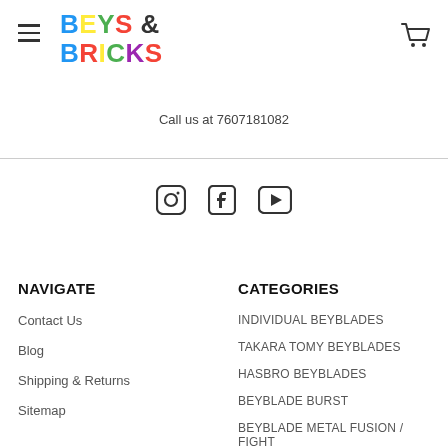BEYS & BRICKS — Call us at 7607181082
Call us at 7607181082
[Figure (other): Social media icons: Instagram, Facebook, YouTube]
NAVIGATE
Contact Us
Blog
Shipping & Returns
Sitemap
CATEGORIES
INDIVIDUAL BEYBLADES
TAKARA TOMY BEYBLADES
HASBRO BEYBLADES
BEYBLADE BURST
BEYBLADE METAL FUSION / FIGHT